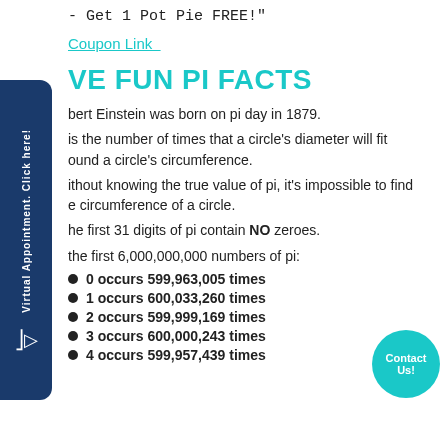- Get 1 Pot Pie FREE!"
Coupon Link
VE FUN PI FACTS
bert Einstein was born on pi day in 1879.
is the number of times that a circle's diameter will fit around a circle's circumference.
ithout knowing the true value of pi, it's impossible to find the circumference of a circle.
he first 31 digits of pi contain NO zeroes.
the first 6,000,000,000 numbers of pi:
0 occurs 599,963,005 times
1 occurs 600,033,260 times
2 occurs 599,999,169 times
3 occurs 600,000,243 times
4 occurs 599,957,439 times